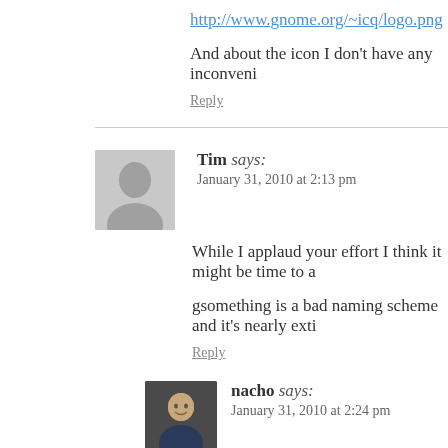http://www.gnome.org/~icq/logo.png
And about the icon I don't have any inconveni
Reply
Tim says:
January 31, 2010 at 2:13 pm
While I applaud your effort I think it might be time to a
gsomething is a bad naming scheme and it's nearly exti
Reply
[Figure (photo): Avatar photo of nacho commenter]
nacho says:
January 31, 2010 at 2:24 pm
Well, probably you are right but I don't think i
now.